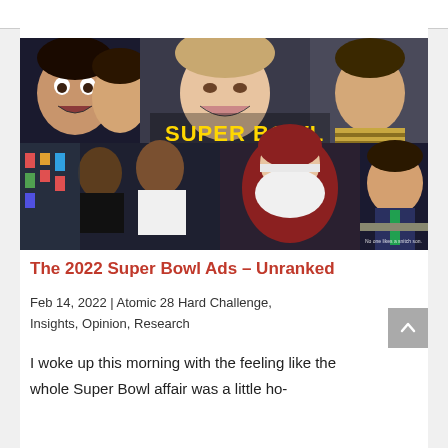[Figure (photo): Collage image showing multiple people from Super Bowl commercials with bold yellow text reading 'SUPER BOWL COMMERCIALS (Un)Ranked' overlaid in the center. Various TV ad personalities/actors are shown in different quadrants.]
The 2022 Super Bowl Ads – Unranked
Feb 14, 2022 | Atomic 28 Hard Challenge, Insights, Opinion, Research
I woke up this morning with the feeling like the whole Super Bowl affair was a little ho-